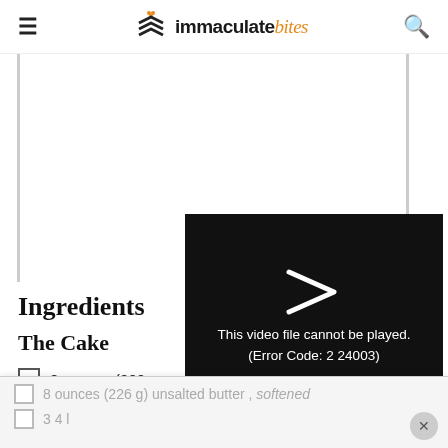immaculate bites
[Figure (screenshot): Blank white advertisement area with left and right gray border lines]
Ingredients
The Cake
8 ounces (200 g
8 ounces (226 g
[Figure (screenshot): Video error overlay on dark background showing play icon and text: This video file cannot be played. (Error Code: 2 24003)]
8 ounces (226 g) unsalted butter , softened
3 4 l